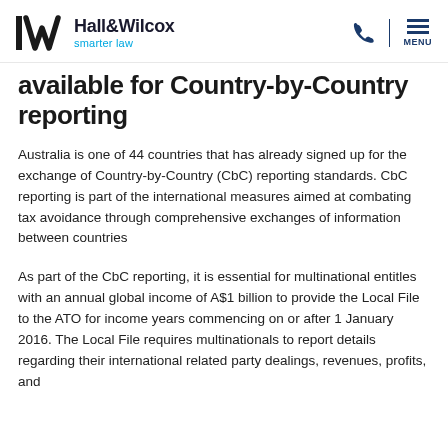Hall&Wilcox smarter law
available for Country-by-Country reporting
Australia is one of 44 countries that has already signed up for the exchange of Country-by-Country (CbC) reporting standards. CbC reporting is part of the international measures aimed at combating tax avoidance through comprehensive exchanges of information between countries
As part of the CbC reporting, it is essential for multinational entitles with an annual global income of A$1 billion to provide the Local File to the ATO for income years commencing on or after 1 January 2016. The Local File requires multinationals to report details regarding their international related party dealings, revenues, profits, and